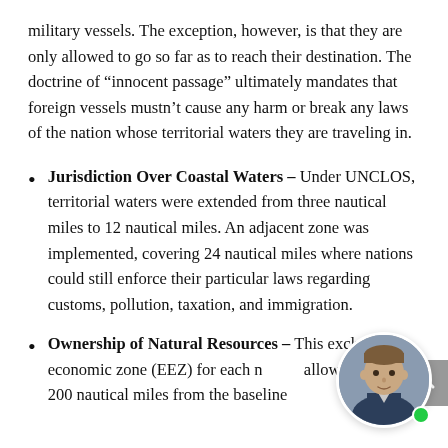military vessels. The exception, however, is that they are only allowed to go so far as to reach their destination. The doctrine of “innocent passage” ultimately mandates that foreign vessels mustn’t cause any harm or break any laws of the nation whose territorial waters they are traveling in.
Jurisdiction Over Coastal Waters – Under UNCLOS, territorial waters were extended from three nautical miles to 12 nautical miles. An adjacent zone was implemented, covering 24 nautical miles where nations could still enforce their particular laws regarding customs, pollution, taxation, and immigration.
Ownership of Natural Resources – This exclusive economic zone (EEZ) for each n... allowing up to 200 nautical miles from the baseline